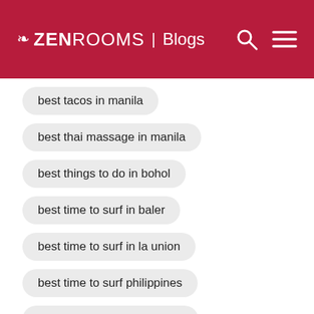ZEN ROOMS | Blogs
best tacos in manila
best thai massage in manila
best things to do in bohol
best time to surf in baler
best time to surf in la union
best time to surf philippines
best time to visit philippines
best tourist spot in baguio
best tourist spot in canada